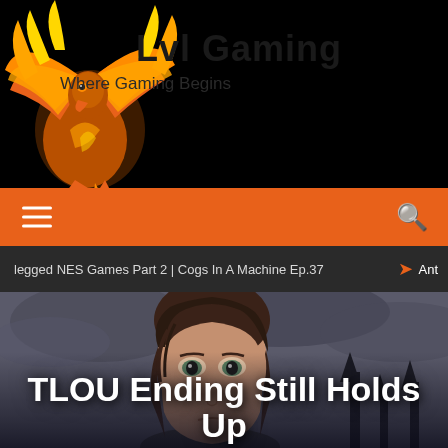Lvl Gaming — Where Gaming Begins
[Figure (logo): Phoenix logo with orange/gold flames on black background, with text 'Lvl Gaming' and tagline 'Where Gaming Begins']
legged NES Games Part 2 | Cogs In A Machine Ep.37  ➤  Ant
[Figure (photo): Close-up of a young female game character (Ellie from The Last of Us) with brown hair, looking sad, against a cloudy sky background]
TLOU Ending Still Holds Up